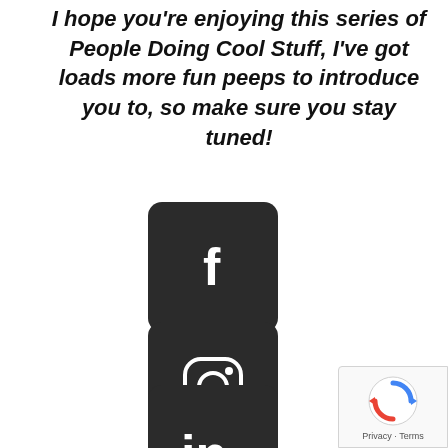I hope you're enjoying this series of People Doing Cool Stuff, I've got loads more fun peeps to introduce you to, so make sure you stay tuned!
[Figure (logo): Facebook logo icon — white 'f' letter on dark rounded square background]
[Figure (logo): Instagram logo icon — white camera outline on dark rounded square background]
[Figure (logo): LinkedIn logo icon — white 'in' text on dark rounded square background]
[Figure (other): reCAPTCHA badge with spinning arrows logo and 'Privacy · Terms' text]